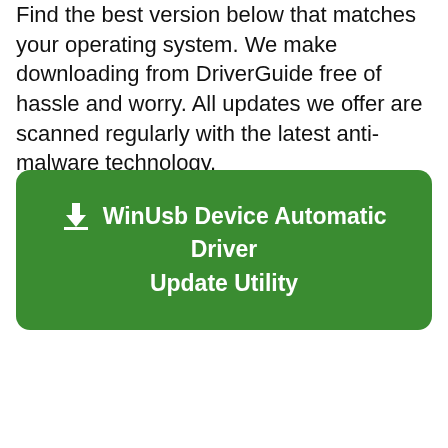Find the best version below that matches your operating system. We make downloading from DriverGuide free of hassle and worry. All updates we offer are scanned regularly with the latest anti-malware technology.
[Figure (other): Green rounded button with download icon and text: WinUsb Device Automatic Driver Update Utility]